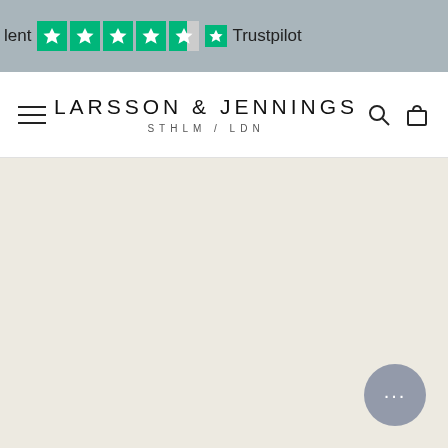lent ★★★★½ Trustpilot
[Figure (logo): Larsson & Jennings brand logo with hamburger menu, search and bag icons]
[Figure (other): Large empty cream/off-white content area with a chat bubble button in bottom right corner showing ellipsis (...)]